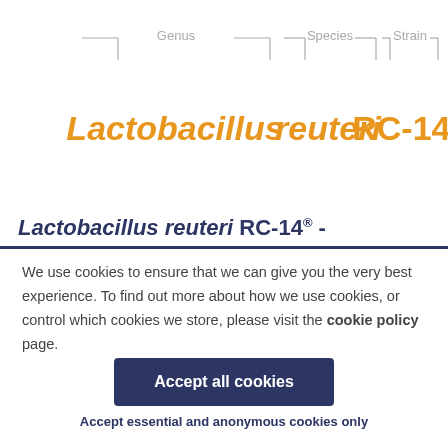[Figure (infographic): Diagram showing three labelled brackets: Genus (pointing to Lactobacillus), Species (pointing to reuteri), and Strain (pointing to RC-14®). Text is in orange/amber italic bold for the scientific name parts.]
Lactobacillus reuteri RC-14® -
We use cookies to ensure that we can give you the very best experience. To find out more about how we use cookies, or control which cookies we store, please visit the cookie policy page.
Accept all cookies
Accept essential and anonymous cookies only